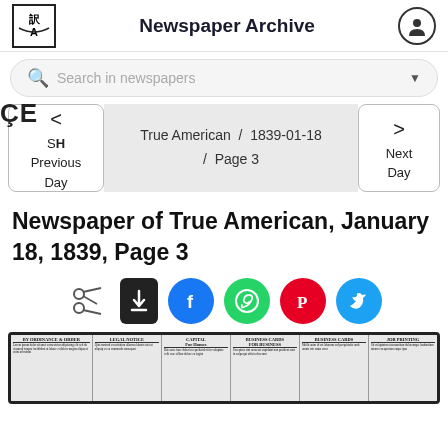Newspaper Archive
Search in newspapers
ÇE
SH   < Previous Day   True American / 1839-01-18 / Page 3   > Next Day
Newspaper of True American, January 18, 1839, Page 3
[Figure (screenshot): Social sharing icons row: scissors/clip icon, download (black rectangle with down arrow), Facebook (blue circle with f), WhatsApp (green circle with phone), Pinterest (red circle with P), Twitter (blue circle with bird)]
[Figure (photo): Thumbnail of the actual newspaper page from True American, January 18, 1839, Page 3 — showing multiple columns of small print text]